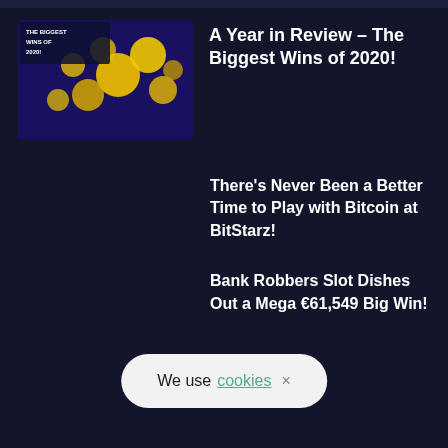[Figure (photo): Thumbnail image with text 'THE BIGGEST WINS OF 2020' over a dark background with yellow coin-like shapes]
A Year in Review – The Biggest Wins of 2020!
There's Never Been a Better Time to Play with Bitcoin at BitStarz!
Bank Robbers Slot Dishes Out a Mega €61,549 Big Win!
We use cookies ×